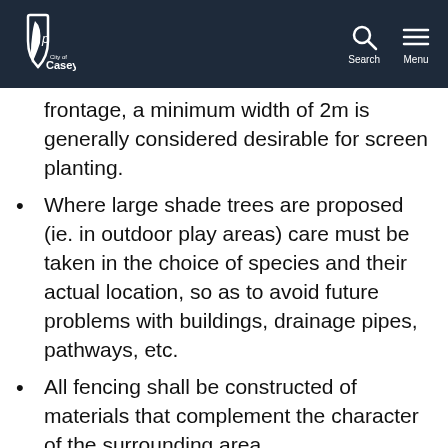City of Casey
frontage, a minimum width of 2m is generally considered desirable for screen planting.
Where large shade trees are proposed (ie. in outdoor play areas) care must be taken in the choice of species and their actual location, so as to avoid future problems with buildings, drainage pipes, pathways, etc.
All fencing shall be constructed of materials that complement the character of the surrounding area.